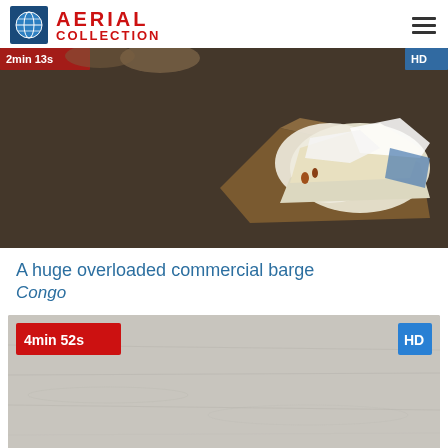[Figure (logo): Aerial Collection logo with globe icon and red text]
[Figure (photo): Aerial view of a huge overloaded commercial barge on a river in Congo, loaded with white goods/materials]
A huge overloaded commercial barge
Congo
[Figure (photo): Second video thumbnail showing a gray water/river surface, with duration badge 4min 52s and HD badge]